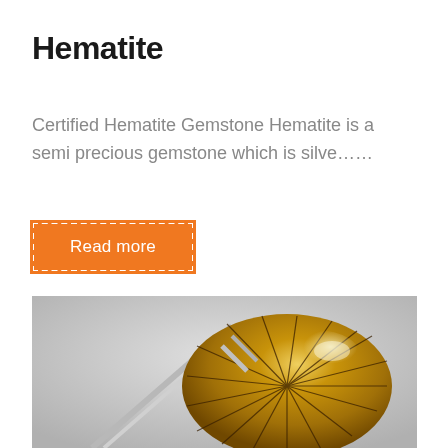Hematite
Certified Hematite Gemstone Hematite is a semi precious gemstone which is silve……
Read more
[Figure (photo): A golden oval gemstone with dark rutile needle inclusions held by metal tweezers against a light gray background.]